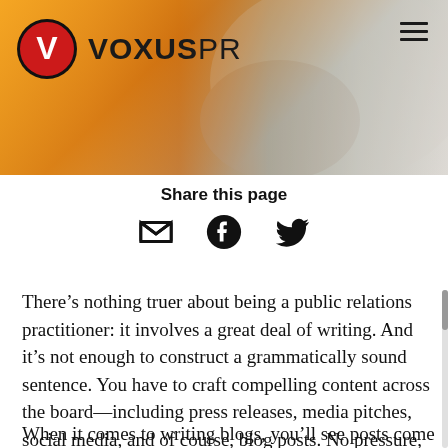[Figure (photo): Website screenshot showing Voxus PR logo on a banner with background photo of a person writing on paper, with warm orange gradient overlay. Hamburger menu icon in top right.]
Share this page
[Figure (infographic): Three social sharing icons: email envelope, Facebook logo, Twitter bird]
There’s nothing truer about being a public relations practitioner: it involves a great deal of writing. And it’s not enough to construct a grammatically sound sentence. You have to craft compelling content across the board—including press releases, media pitches, social media, and of course, blog posts. No pressure, though.
When it comes to writing blogs, you’ll see posts come in many